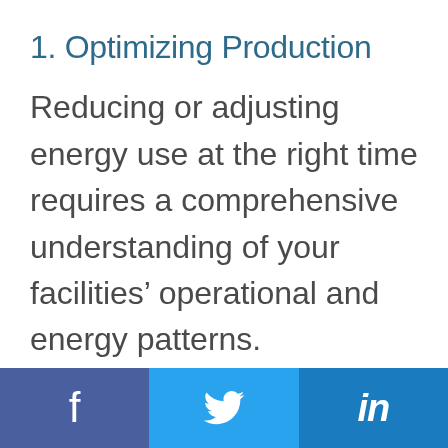1. Optimizing Production
Reducing or adjusting energy use at the right time requires a comprehensive understanding of your facilities’ operational and energy patterns. Understanding which assets
f  [twitter]  in